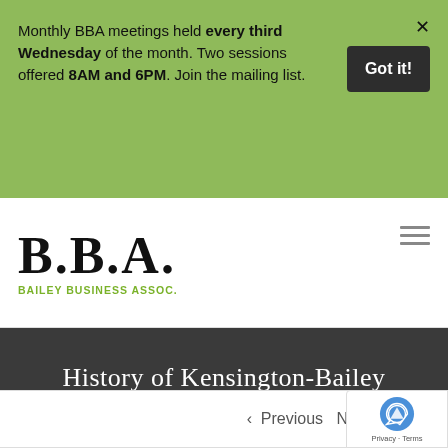Monthly BBA meetings held every third Wednesday of the month. Two sessions offered 8AM and 6PM. Join the mailing list.
B.B.A. BAILEY BUSINESS ASSOC.
History of Kensington-Bailey
Home | Featured, History | History of Kensington-Bailey
< Previous N...